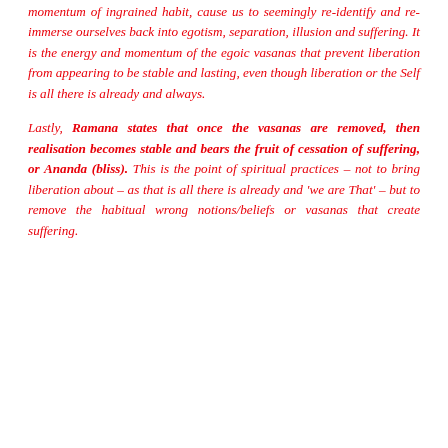momentum of ingrained habit, cause us to seemingly re-identify and re-immerse ourselves back into egotism, separation, illusion and suffering. It is the energy and momentum of the egoic vasanas that prevent liberation from appearing to be stable and lasting, even though liberation or the Self is all there is already and always.
Lastly, Ramana states that once the vasanas are removed, then realisation becomes stable and bears the fruit of cessation of suffering, or Ananda (bliss). This is the point of spiritual practices – not to bring liberation about – as that is all there is already and 'we are That' – but to remove the habitual wrong notions/beliefs or vasanas that create suffering.